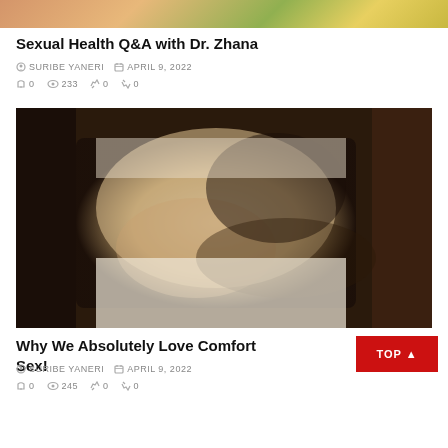[Figure (photo): Partial top of a photo showing colorful background with people]
Sexual Health Q&A with Dr. Zhana
SURIBE YANERI  APRIL 9, 2022
0  233  0  0
[Figure (photo): A woman lying in bed with white sheets, dark hair spread out, arms raised over her face]
Why We Absolutely Love Comfort Sex!
SURIBE YANERI  APRIL 9, 2022
0  245  0  0
TOP